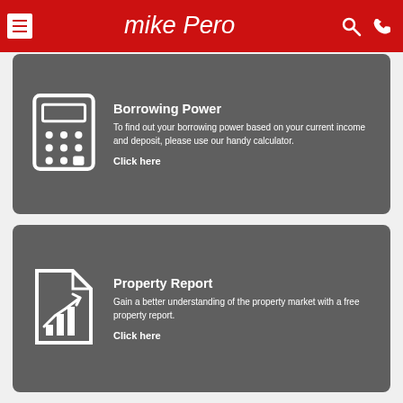Mike Pero
Borrowing Power
To find out your borrowing power based on your current income and deposit, please use our handy calculator.
Click here
Property Report
Gain a better understanding of the property market with a free property report.
Click here